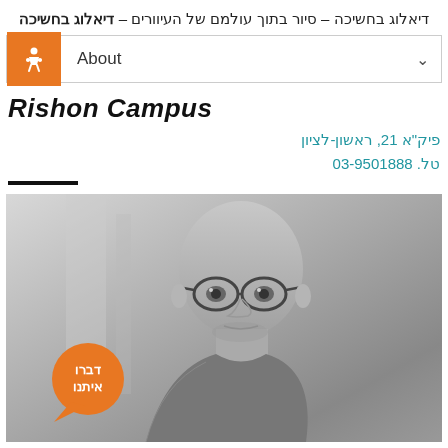דיאלוג בחשיכה – סיור בתוך עולמם של העיוורים
About
Rishon Campus
פיק"א 21, ראשון-לציון
טל. 03-9501888
[Figure (photo): Black and white photo of a bald man with glasses, with an orange speech bubble overlay reading 'דברו איתנו' (Talk to us)]